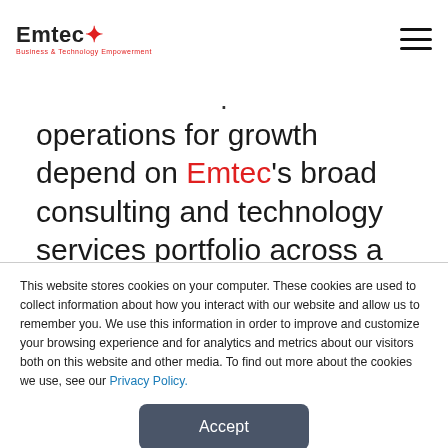Emtec — Business & Technology Empowerment (logo and hamburger menu)
. operations for growth depend on Emtec's broad consulting and technology services portfolio across a multitude of focus areas including applications (both back office and
This website stores cookies on your computer. These cookies are used to collect information about how you interact with our website and allow us to remember you. We use this information in order to improve and customize your browsing experience and for analytics and metrics about our visitors both on this website and other media. To find out more about the cookies we use, see our Privacy Policy.
Accept